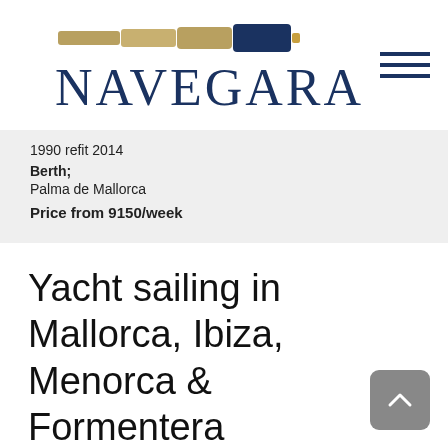[Figure (logo): Navegara logo with telescope graphic above the brand name text]
1990 refit 2014
Berth;
Palma de Mallorca
Price from 9150/week
Yacht sailing in Mallorca, Ibiza, Menorca & Formentera